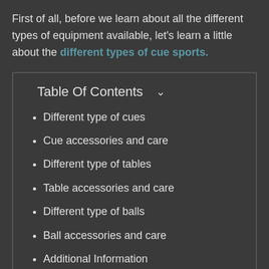First of all, before we learn about all the different types of equipment available, let's learn a little about the different types of cue sports.
Table Of Contents
Different type of cues
Cue accessories and care
Different type of tables
Table accessories and care
Different type of balls
Ball accessories and care
Additional Information